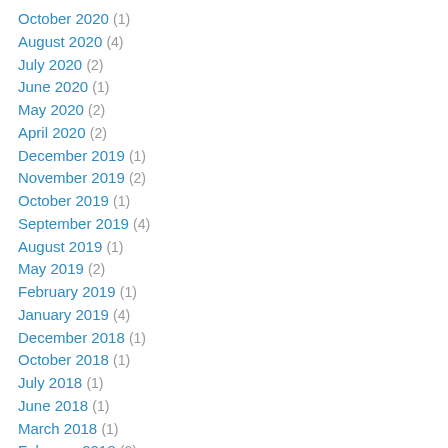October 2020 (1)
August 2020 (4)
July 2020 (2)
June 2020 (1)
May 2020 (2)
April 2020 (2)
December 2019 (1)
November 2019 (2)
October 2019 (1)
September 2019 (4)
August 2019 (1)
May 2019 (2)
February 2019 (1)
January 2019 (4)
December 2018 (1)
October 2018 (1)
July 2018 (1)
June 2018 (1)
March 2018 (1)
February 2018 (2)